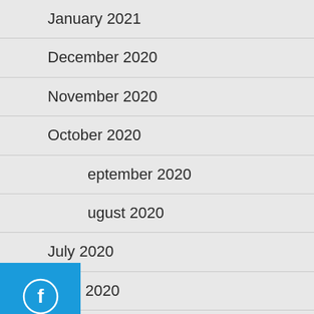January 2021
December 2020
November 2020
October 2020
September 2020
August 2020
July 2020
June 2020
May 2020
[Figure (logo): Facebook social media icon button (blue square with white Facebook 'f' circle logo)]
[Figure (logo): Instagram social media icon button (blue square with white Instagram camera logo)]